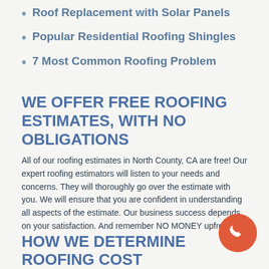Roof Replacement with Solar Panels
Popular Residential Roofing Shingles
7 Most Common Roofing Problem
WE OFFER FREE ROOFING ESTIMATES, WITH NO OBLIGATIONS
All of our roofing estimates in North County, CA are free! Our expert roofing estimators will listen to your needs and concerns. They will thoroughly go over the estimate with you. We will ensure that you are confident in understanding all aspects of the estimate. Our business success depends on your satisfaction. And remember NO MONEY upfront!
HOW WE DETERMINE ROOFING COST